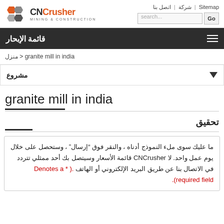[Figure (logo): CNCrusher Mining & Construction logo with red/grey geometric icon]
Sitemap | شركة | اتصل بنا  [search box]  Go
قائمة الإبحار
منزل > granite mill in india
مشروع
granite mill in india
تحقيق
ما عليك سوى ملء النموذج أدناه ، والنقر فوق "إرسال" ، وستحصل على خلال يوم عمل واحد. لا CNCrusher قائمة الأسعار وسيتصل بك أحد ممثلي تتردد في الاتصال بنا عن طريق البريد الإلكتروني أو الهاتف.( * Denotes a required field).